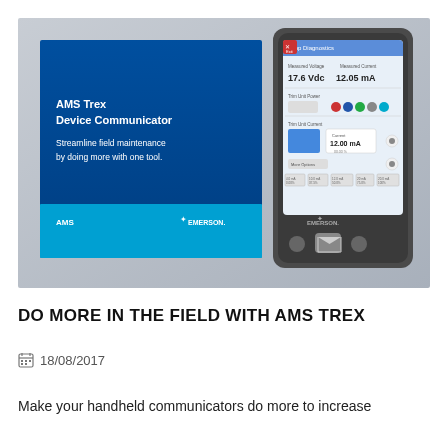[Figure (photo): Marketing banner image for AMS Trex Device Communicator. Left side shows a blue slide with white text 'AMS Trex Device Communicator — Streamline field maintenance by doing more with one tool.' with AMS and Emerson logos at the bottom. Right side shows a photo of the AMS Trex handheld communicator device displaying a Loop Diagnostics screen with readings of 17.6 Vdc and 12.05 mA.]
DO MORE IN THE FIELD WITH AMS TREX
18/08/2017
Make your handheld communicators do more to increase